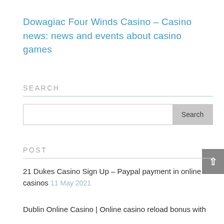Dowagiac Four Winds Casino – Casino news: news and events about casino games
SEARCH
Search
POST
21 Dukes Casino Sign Up – Paypal payment in online casinos 11 May 2021
Dublin Online Casino | Online casino reload bonus with